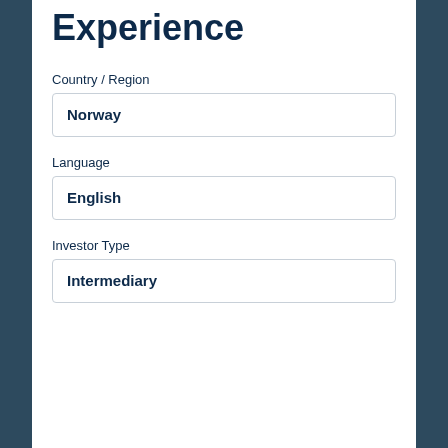Experience
Country / Region
Norway
Language
English
Investor Type
Intermediary